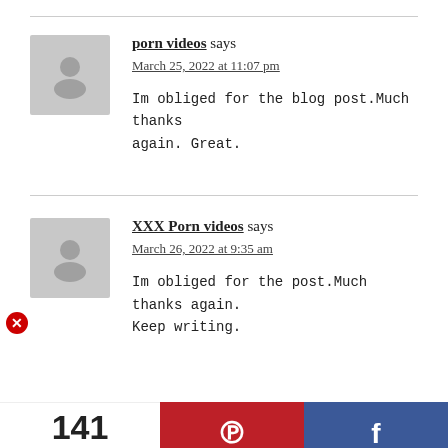porn videos says
March 25, 2022 at 11:07 pm

Im obliged for the blog post.Much thanks again. Great.
XXX Porn videos says
March 26, 2022 at 9:35 am

Im obliged for the post.Much thanks again. Keep writing.
141 SHARES